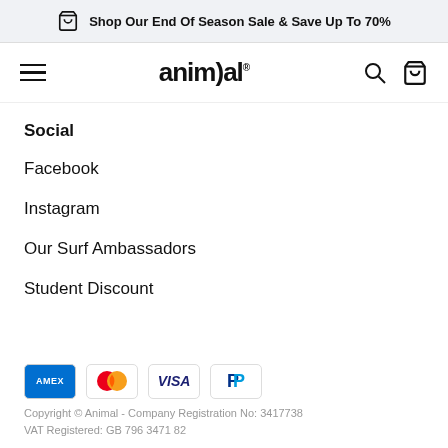Shop Our End Of Season Sale & Save Up To 70%
[Figure (logo): Animal brand logo in navbar with hamburger menu and search/cart icons]
Social
Facebook
Instagram
Our Surf Ambassadors
Student Discount
[Figure (other): Payment method icons: Amex, Mastercard, Visa, PayPal]
Copyright © Animal - Company Registration No: 3417738
VAT Registered: GB 796 3471 82